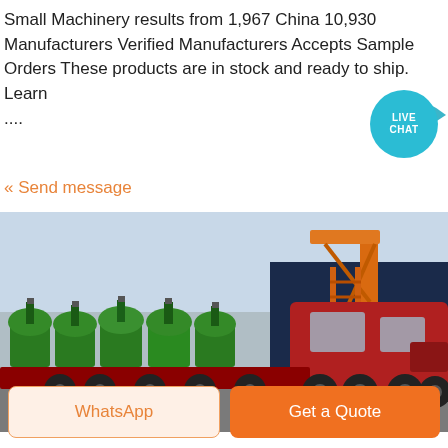Small Machinery results from 1,967 China 10,930 Manufacturers Verified Manufacturers Accepts Sample Orders These products are in stock and ready to ship. Learn ....
« Send message
[Figure (photo): A red heavy-duty flatbed truck loaded with multiple green small machinery units (concrete mixers), with an orange gantry crane structure in the background, parked in an industrial yard.]
WhatsApp
Get a Quote